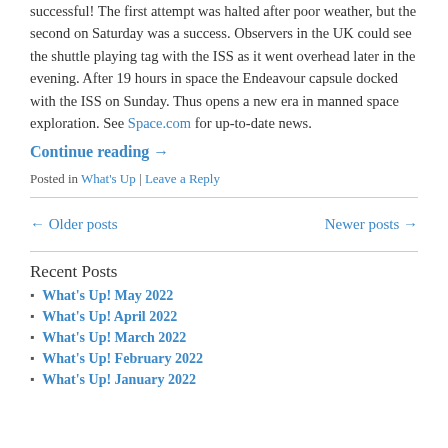successful! The first attempt was halted after poor weather, but the second on Saturday was a success. Observers in the UK could see the shuttle playing tag with the ISS as it went overhead later in the evening. After 19 hours in space the Endeavour capsule docked with the ISS on Sunday. Thus opens a new era in manned space exploration. See Space.com for up-to-date news.
Continue reading →
Posted in What's Up | Leave a Reply
← Older posts
Newer posts →
Recent Posts
What's Up! May 2022
What's Up! April 2022
What's Up! March 2022
What's Up! February 2022
What's Up! January 2022